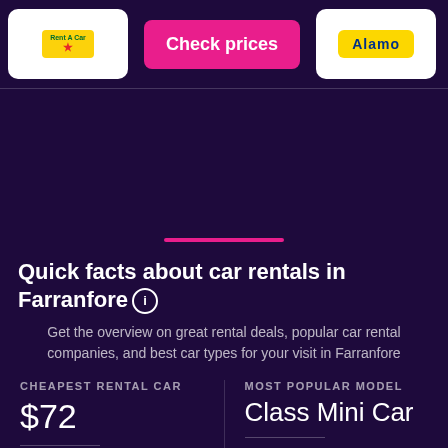[Figure (screenshot): Top bar with rental car company logos (Enterprise/Rent A Car with yellow logo, Alamo with yellow logo) and pink 'Check prices' buttons]
Quick facts about car rentals in Farranfore
Get the overview on great rental deals, popular car rental companies, and best car types for your visit in Farranfore
CHEAPEST RENTAL CAR
$72
MOST POPULAR MODEL
Class Mini Car
he lowest price for a rental car in rranfore is $72/day. For this area,
The most popular car model to r in Farranfore in the past 7 days is